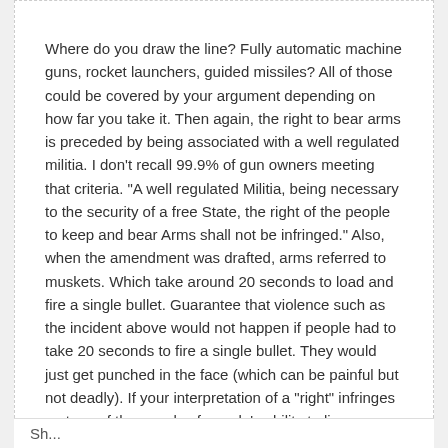July 3, 2021 10:14 am
Where do you draw the line? Fully automatic machine guns, rocket launchers, guided missiles? All of those could be covered by your argument depending on how far you take it. Then again, the right to bear arms is preceded by being associated with a well regulated militia. I don't recall 99.9% of gun owners meeting that criteria. "A well regulated Militia, being necessary to the security of a free State, the right of the people to keep and bear Arms shall not be infringed." Also, when the amendment was drafted, arms referred to muskets. Which take around 20 seconds to load and fire a single bullet. Guarantee that violence such as the incident above would not happen if people had to take 20 seconds to fire a single bullet. They would just get punched in the face (which can be painful but not deadly). If your interpretation of a "right" infringes on tens of thousands of people's ability to live, you should seriously rethink your interpretation.
Sh...